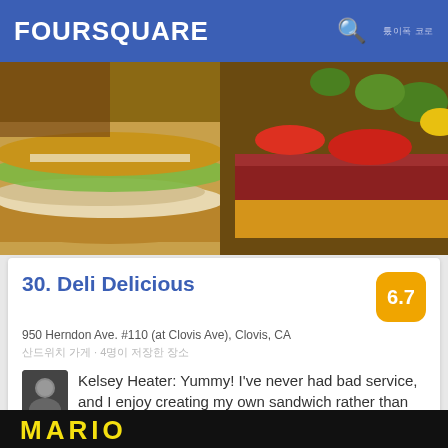FOURSQUARE
[Figure (photo): Food photo showing deli sandwiches with meats, vegetables and bread on a wooden surface]
30. Deli Delicious
950 Herndon Ave. #110 (at Clovis Ave), Clovis, CA
샌드위치 가게 · 4명이 저장한 장소
Kelsey Heater: Yummy! I've never had bad service, and I enjoy creating my own sandwich rather than getting a menu item. Beer batter fries no longer come half or full; just 10oz.
[Figure (photo): Bottom strip showing partial logo/text in black and yellow]